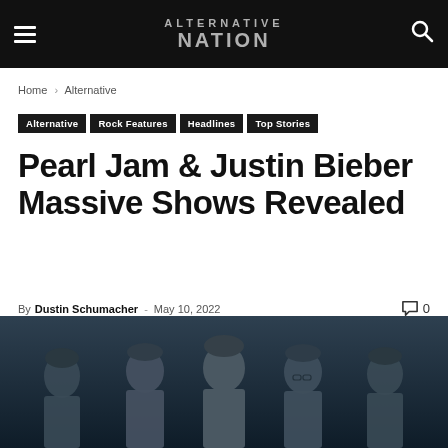Alternative Nation — site header with hamburger menu and search icon
Home › Alternative
Alternative
Rock Features
Headlines
Top Stories
Pearl Jam & Justin Bieber Massive Shows Revealed
By Dustin Schumacher - May 10, 2022  0
[Figure (photo): Band photo of Pearl Jam members — five men standing against a dark blue-grey background]